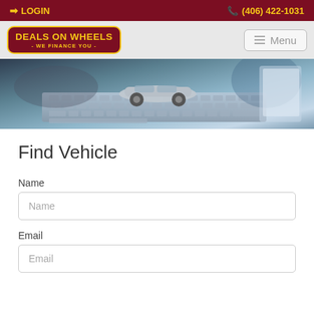LOGIN   (406) 422-1031
[Figure (logo): Deals on Wheels - We Finance You logo, dark red background with yellow text and border]
[Figure (photo): Hero banner photo showing a toy silver car on a laptop keyboard with hands in background, representing car financing online]
Find Vehicle
Name
Name (input placeholder)
Email
Email (input placeholder)